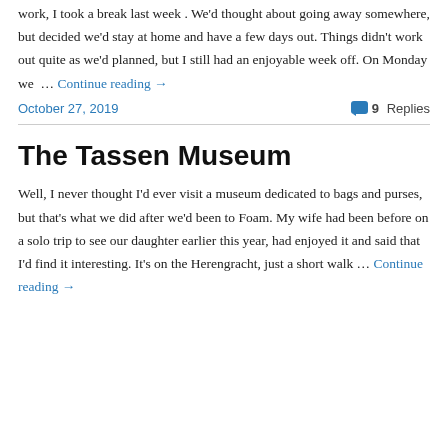work, I took a break last week . We'd thought about going away somewhere, but decided we'd stay at home and have a few days out. Things didn't work out quite as we'd planned, but I still had an enjoyable week off. On Monday we … Continue reading →
October 27, 2019    9 Replies
The Tassen Museum
Well, I never thought I'd ever visit a museum dedicated to bags and purses, but that's what we did after we'd been to Foam. My wife had been before on a solo trip to see our daughter earlier this year, had enjoyed it and said that I'd find it interesting. It's on the Herengracht, just a short walk … Continue reading →